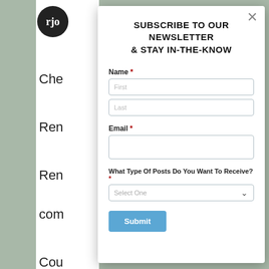[Figure (screenshot): Newsletter subscription modal overlay on a law firm website. The background shows partial text from a legal article and a law firm logo (rjd law). The modal has a title 'SUBSCRIBE TO OUR NEWSLETTER & STAY IN-THE-KNOW', fields for Name (First, Last), Email, and a dropdown 'What Type Of Posts Do You Want To Receive?' with a Submit button. A close (×) button appears top right.]
SUBSCRIBE TO OUR NEWSLETTER & STAY IN-THE-KNOW